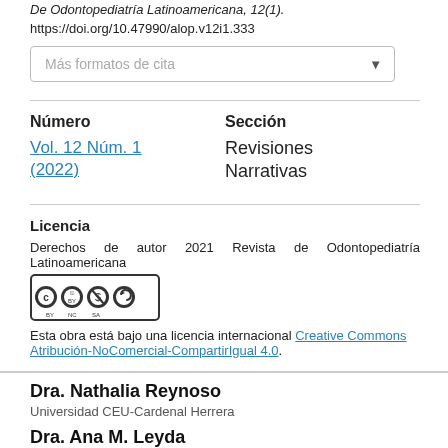De Odontopediatría Latinoamericana, 12(1).
https://doi.org/10.47990/alop.v12i1.333
Más formatos de cita
Número
Vol. 12 Núm. 1 (2022)
Sección
Revisiones Narrativas
Licencia
Derechos de autor 2021 Revista de Odontopediatría Latinoamericana
[Figure (logo): Creative Commons BY-NC-SA license badge with CC, person, dollar-slash, and share-alike icons]
Esta obra está bajo una licencia internacional Creative Commons Atribución-NoComercial-CompartirIgual 4.0.
Dra. Nathalia Reynoso
Universidad CEU-Cardenal Herrera
Dra. Ana M. Leyda